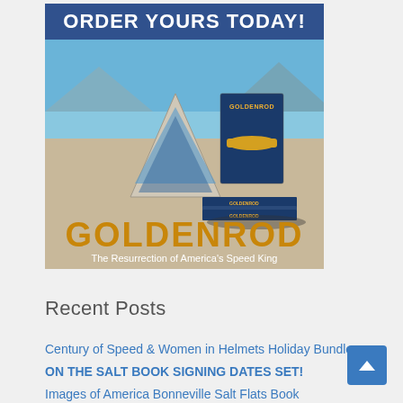[Figure (illustration): Advertisement for the book 'Goldenrod: The Resurrection of America's Speed King'. Shows the book covers displayed on Bonneville Salt Flats with a pyramid marker in the background. Text at top reads 'ORDER YOURS TODAY!' in white. Large gold text 'GOLDENROD' at bottom with subtitle 'The Resurrection of America's Speed King'.]
Recent Posts
Century of Speed & Women in Helmets Holiday Bundle
ON THE SALT BOOK SIGNING DATES SET!
Images of America Bonneville Salt Flats Book